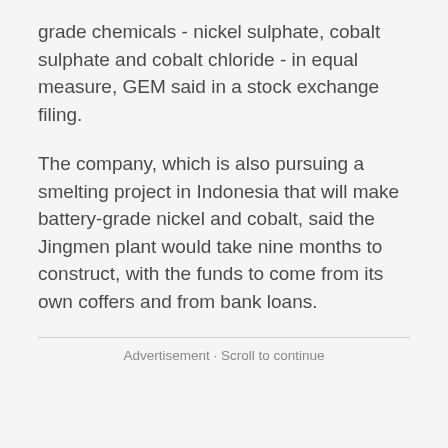grade chemicals - nickel sulphate, cobalt sulphate and cobalt chloride - in equal measure, GEM said in a stock exchange filing.
The company, which is also pursuing a smelting project in Indonesia that will make battery-grade nickel and cobalt, said the Jingmen plant would take nine months to construct, with the funds to come from its own coffers and from bank loans.
Advertisement · Scroll to continue